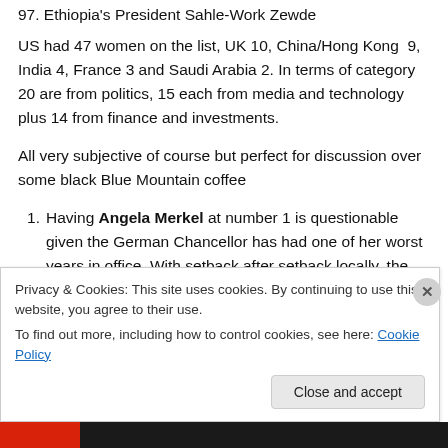97. Ethiopia's President Sahle-Work Zewde
US had 47 women on the list, UK 10, China/Hong Kong 9, India 4, France 3 and Saudi Arabia 2. In terms of category 20 are from politics, 15 each from media and technology plus 14 from finance and investments.
All very subjective of course but perfect for discussion over some black Blue Mountain coffee
Having Angela Merkel at number 1 is questionable given the German Chancellor has had one of her worst years in office. With setback after setback locally, the
Privacy & Cookies: This site uses cookies. By continuing to use this website, you agree to their use.
To find out more, including how to control cookies, see here: Cookie Policy
Close and accept